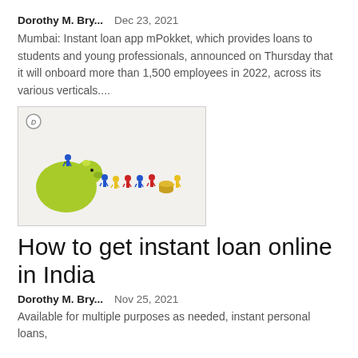Dorothy M. Bry...    Dec 23, 2021
Mumbai: Instant loan app mPokket, which provides loans to students and young professionals, announced on Thursday that it will onboard more than 1,500 employees in 2022, across its various verticals....
[Figure (photo): Colorful toy figurines (blue, yellow, red) standing around a green piggy bank on a light background]
How to get instant loan online in India
Dorothy M. Bry...    Nov 25, 2021
Available for multiple purposes as needed, instant personal loans,